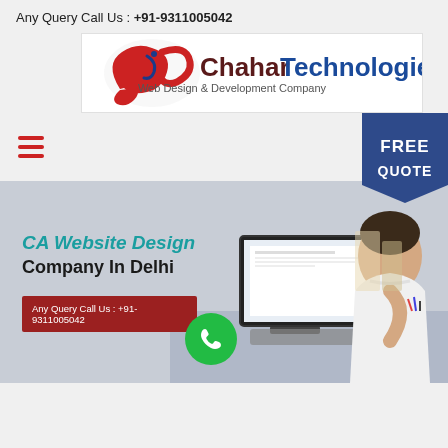Any Query Call Us : +91-9311005042
[Figure (logo): ChaharTechnologies logo with red swirl icon and text 'ChaharTechnologies Web Design & Development Company']
[Figure (infographic): Hamburger menu icon (three red horizontal lines) on the left and a dark blue FREE QUOTE badge/pennant on the right]
[Figure (photo): Hero banner: man in white shirt working at desktop computer showing a document. Overlay text: 'CA Website Design Company In Delhi' with a red button 'Any Query Call Us : +91-9311005042' and a green phone call circle button.]